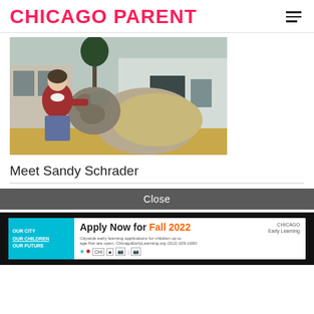CHICAGO PARENT
[Figure (photo): A woman in a red jacket crouching next to a large woolly sheep or ram outdoors near a white barn building, petting the animal.]
Meet Sandy Schrader
Close
[Figure (infographic): Advertisement: Apply Now for Fall 2022. OUR CITY, Our Children, OUR FUTURE. Citywide early learning applications for children up to age five are open. ChicagoEarlyLearning.org (312) 229-1690. Chicago Early Learning logo with partner logos.]